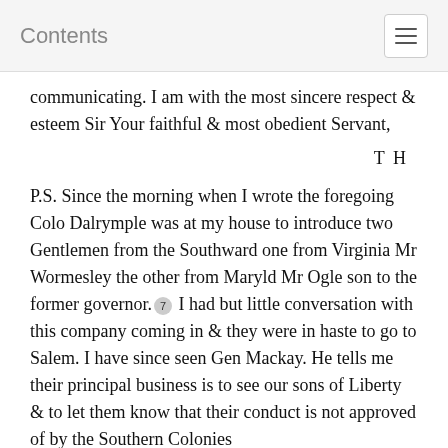Contents
communicating. I am with the most sincere respect & esteem Sir Your faithful & most obedient Servant,
T H
P.S. Since the morning when I wrote the foregoing Colo Dalrymple was at my house to introduce two Gentlemen from the Southward one from Virginia Mr Wormesley the other from Maryld Mr Ogle son to the former governor. [7] I had but little conversation with this company coming in & they were in haste to go to Salem. I have since seen Gen Mackay. He tells me their principal business is to see our sons of Liberty & to let them know that their conduct is not approved of by the Southern Colonies